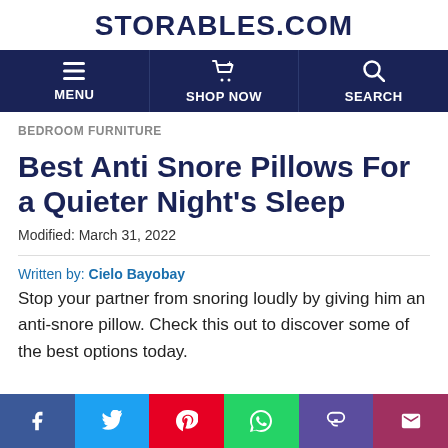STORABLES.COM
[Figure (screenshot): Navigation bar with MENU, SHOP NOW, SEARCH items on dark blue background]
BEDROOM FURNITURE
Best Anti Snore Pillows For a Quieter Night's Sleep
Modified: March 31, 2022
Written by: Cielo Bayobay
Stop your partner from snoring loudly by giving him an anti-snore pillow. Check this out to discover some of the best options today.
[Figure (infographic): Social media share bar with Facebook, Twitter, Pinterest, WhatsApp, Copy, Email buttons]